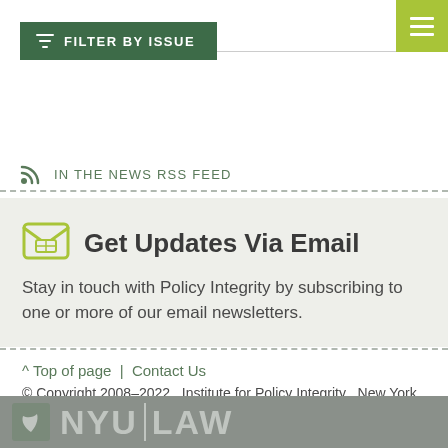[Figure (other): Green hamburger menu button in top-right corner]
FILTER BY ISSUE
IN THE NEWS RSS FEED
Get Updates Via Email
Stay in touch with Policy Integrity by subscribing to one or more of our email newsletters.
Top of page  |  Contact Us
© Copyright 2008-2022   Institute for Policy Integrity   New York University School of Law
[Figure (logo): NYU Law logo: grey box with NYU Law text]